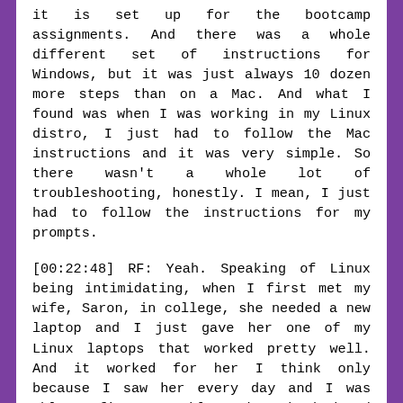it is set up for the bootcamp assignments. And there was a whole different set of instructions for Windows, but it was just always 10 dozen more steps than on a Mac. And what I found was when I was working in my Linux distro, I just had to follow the Mac instructions and it was very simple. So there wasn't a whole lot of troubleshooting, honestly. I mean, I just had to follow the instructions for my prompts.
[00:22:48] RF: Yeah. Speaking of Linux being intimidating, when I first met my wife, Saron, in college, she needed a new laptop and I just gave her one of my Linux laptops that worked pretty well. And it worked for her I think only because I saw her every day and I was able to fix any problems that she had and I pre-installed Microsoft Word and all the other programs that she would need for school. I installed it using Wine. I set it up for her. And she